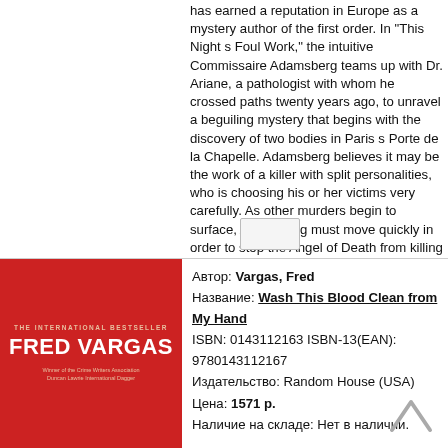has earned a reputation in Europe as a mystery author of the first order. In "This Night s Foul Work," the intuitive Commissaire Adamsberg teams up with Dr. Ariane, a pathologist with whom he crossed paths twenty years ago, to unravel a beguiling mystery that begins with the discovery of two bodies in Paris s Porte de la Chapelle. Adamsberg believes it may be the work of a killer with split personalities, who is choosing his or her victims very carefully. As other murders begin to surface, Adamsberg must move quickly in order to stop the Angel of Death from killing again. Intricately plotted and featuring Vargas s wry humor, "This Night s Foul Work" will keep readers guessing up to the final page.
[Figure (illustration): Book cover: Red background, Fred Vargas, Wash This Blood Clean from My Hand]
Автор: Vargas, Fred
Название: Wash This Blood Clean from My Hand
ISBN: 0143112163 ISBN-13(EAN): 9780143112167
Издательство: Random House (USA)
Цена: 1571 р.
Наличие на складе: Нет в наличии.